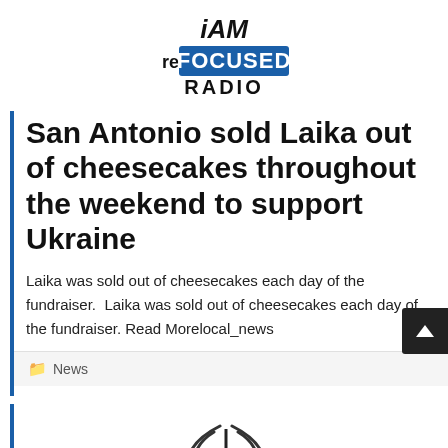[Figure (logo): iAM ReFOCUSED RADIO logo — bold black italic 'iAM' above large blue 'FOCUSED' with 're' in black to the left, and 'RADIO' in black below]
San Antonio sold Laika out of cheesecakes throughout the weekend to support Ukraine
Laika was sold out of cheesecakes each day of the fundraiser.  Laika was sold out of cheesecakes each day of the fundraiser. Read Morelocal_news
📁 News
[Figure (logo): Radio tower / antenna logo in black and white, partially visible at bottom of page]